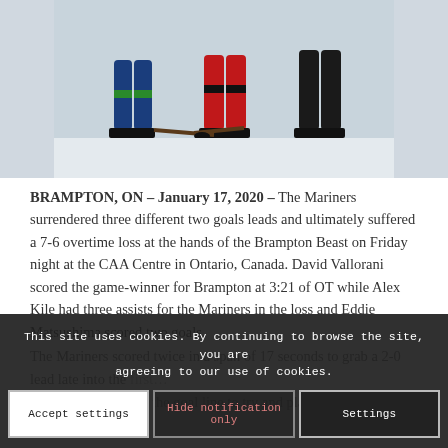[Figure (photo): Ice hockey players at a faceoff, showing legs and skates on the ice at the CAA Centre]
BRAMPTON, ON – January 17, 2020 – The Mariners surrendered three different two goals leads and ultimately suffered a 7-6 overtime loss at the hands of the Brampton Beast on Friday night at the CAA Centre in Ontario, Canada. David Vallorani scored the game-winner for Brampton at 3:21 of OT while Alex Kile had three assists for the Mariners in the loss and Eddie Matsushima scored two goals.
The Mariners scored twice in a span of 17 seconds to grab a 2-0 lead late into the first…
who ventured below the goal line to try and play
This site uses cookies. By continuing to browse the site, you are agreeing to our use of cookies.